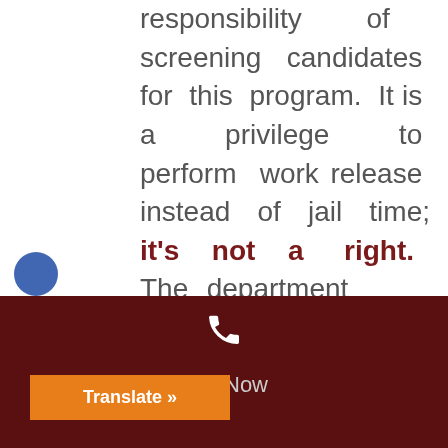responsibility of screening candidates for this program. It is a privilege to perform work release instead of jail time; it's not a right. The department often tests applicants for drugs or alcohol. Please make sure to do this to protect your lif...
Call Now | Translate »